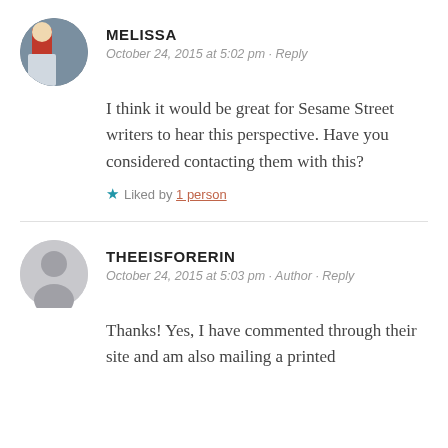MELISSA
October 24, 2015 at 5:02 pm · Reply
I think it would be great for Sesame Street writers to hear this perspective. Have you considered contacting them with this?
Liked by 1 person
THEEISFORERIN
October 24, 2015 at 5:03 pm · Author · Reply
Thanks! Yes, I have commented through their site and am also mailing a printed